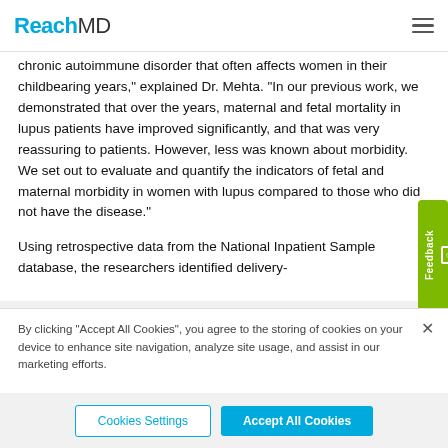ReachMD
chronic autoimmune disorder that often affects women in their childbearing years," explained Dr. Mehta. "In our previous work, we demonstrated that over the years, maternal and fetal mortality in lupus patients have improved significantly, and that was very reassuring to patients. However, less was known about morbidity. We set out to evaluate and quantify the indicators of fetal and maternal morbidity in women with lupus compared to those who did not have the disease."
Using retrospective data from the National Inpatient Sample database, the researchers identified delivery-
By clicking “Accept All Cookies”, you agree to the storing of cookies on your device to enhance site navigation, analyze site usage, and assist in our marketing efforts.
Cookies Settings
Accept All Cookies